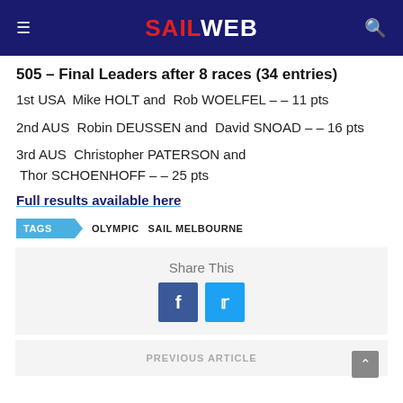SAILWEB
505 – Final Leaders after 8 races (34 entries)
1st USA  Mike HOLT and  Rob WOELFEL – – 11 pts
2nd AUS  Robin DEUSSEN and  David SNOAD – – 16 pts
3rd AUS  Christopher PATERSON and  Thor SCHOENHOFF – – 25 pts
Full results available here
TAGS  OLYMPIC  SAIL MELBOURNE
Share This
PREVIOUS ARTICLE